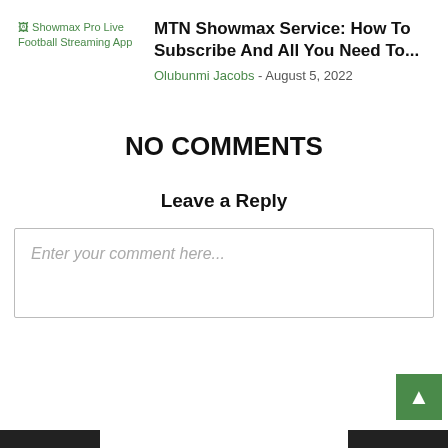[Figure (other): Broken image placeholder for Showmax Pro Live Football Streaming App]
MTN Showmax Service: How To Subscribe And All You Need To...
Olubunmi Jacobs - August 5, 2022
NO COMMENTS
Leave a Reply
Enter your comment here...